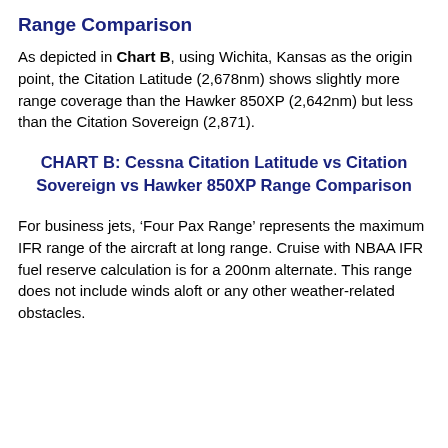Range Comparison
As depicted in Chart B, using Wichita, Kansas as the origin point, the Citation Latitude (2,678nm) shows slightly more range coverage than the Hawker 850XP (2,642nm) but less than the Citation Sovereign (2,871).
CHART B: Cessna Citation Latitude vs Citation Sovereign vs Hawker 850XP Range Comparison
For business jets, ‘Four Pax Range’ represents the maximum IFR range of the aircraft at long range. Cruise with NBAA IFR fuel reserve calculation is for a 200nm alternate. This range does not include winds aloft or any other weather-related obstacles.